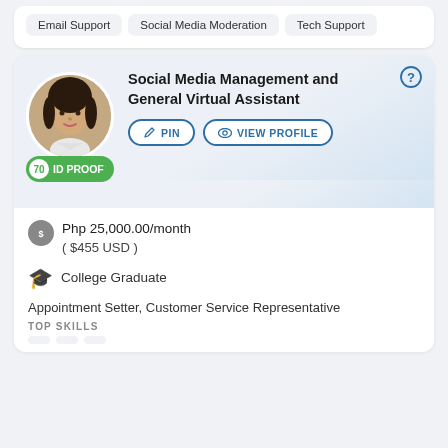Email Support
Social Media Moderation
Tech Support
Social Media Management and General Virtual Assistant
70 ID PROOF
Php 25,000.00/month ( $455 USD )
College Graduate
Appointment Setter, Customer Service Representative
TOP SKILLS